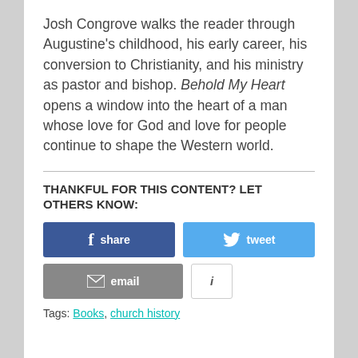Josh Congrove walks the reader through Augustine's childhood, his early career, his conversion to Christianity, and his ministry as pastor and bishop. Behold My Heart opens a window into the heart of a man whose love for God and love for people continue to shape the Western world.
THANKFUL FOR THIS CONTENT? LET OTHERS KNOW:
[Figure (other): Social sharing buttons: Facebook share button (blue), Twitter tweet button (light blue), Email button (grey), Info button (white with border)]
Tags: Books, church history